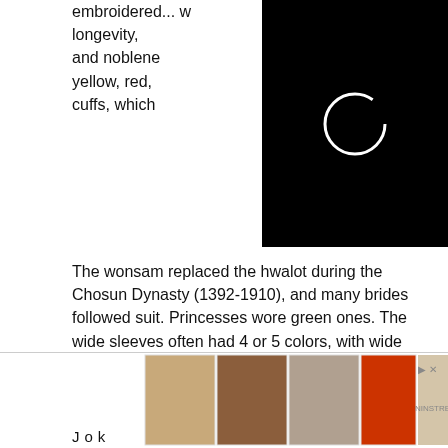embroidered... with the 10 longevities: fish, longevity, and nobleness... blue, yellow, red, ... white at the cuffs, which...
[Figure (screenshot): Black video loading overlay with a white circle spinner in the center, partially obscuring text]
The wonsam replaced the hwalot during the Chosun Dynasty (1392-1910), and many brides followed suit. Princesses wore green ones. The wide sleeves often had 4 or 5 colors, with wide white strips at the cuffs.
D a e d a e
A Daedae (belt of red woven silk with gold embroidery) was wrapped around the wonsam or hwalot and tied in the back.
[Figure (screenshot): Advertisement bar showing shoe images with Close X button and NINSTREE logo]
Jok...